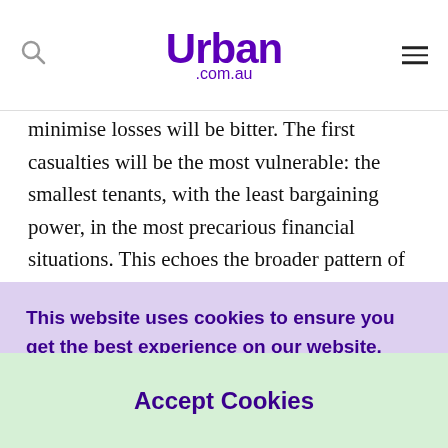Urban .com.au
minimise losses will be bitter. The first casualties will be the most vulnerable: the smallest tenants, with the least bargaining power, in the most precarious financial situations. This echoes the broader pattern of the pandemic's impact.

For landlords there are longer-term questions. Will the
This website uses cookies to ensure you get the best experience on our website. Find out more in our privacy policy.
Accept Cookies